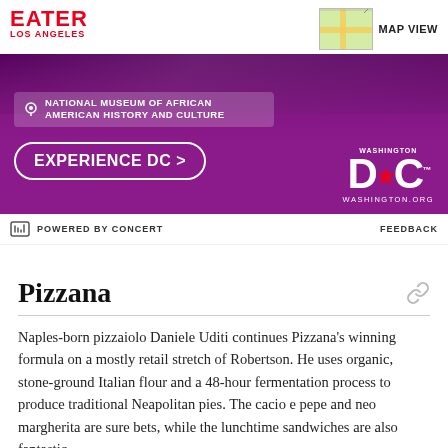EATER LOS ANGELES
[Figure (screenshot): Washington DC tourism advertisement banner with purple background, National Museum of African American History and Culture label, 'EXPERIENCE DC >' button, and Washington DC logo with washington.org]
POWERED BY CONCERT   FEEDBACK
Pizzana
Naples-born pizzaiolo Daniele Uditi continues Pizzana's winning formula on a mostly retail stretch of Robertson. He uses organic, stone-ground Italian flour and a 48-hour fermentation process to produce traditional Neapolitan pies. The cacio e pepe and neo margherita are sure bets, while the lunchtime sandwiches are also fantastic.